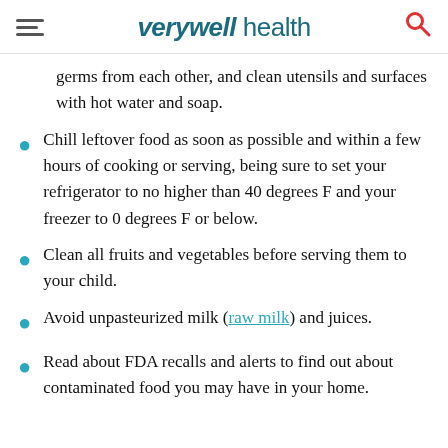verywell health
germs from each other, and clean utensils and surfaces with hot water and soap.
Chill leftover food as soon as possible and within a few hours of cooking or serving, being sure to set your refrigerator to no higher than 40 degrees F and your freezer to 0 degrees F or below.
Clean all fruits and vegetables before serving them to your child.
Avoid unpasteurized milk (raw milk) and juices.
Read about FDA recalls and alerts to find out about contaminated food you may have in your home.